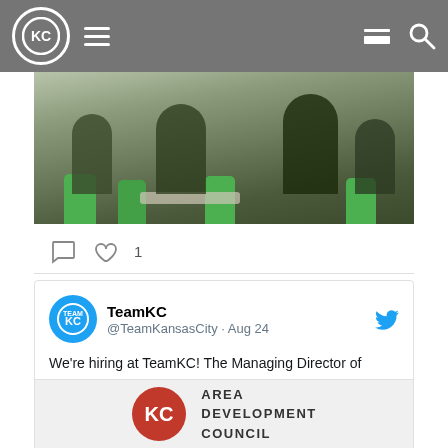KC TeamKC navigation bar with hamburger menu, grid icon, and search icon
[Figure (photo): People sitting around tables with green chairs at a community or work event]
comment icon  heart icon  1
TeamKC @TeamKansasCity · Aug 24
We're hiring at TeamKC! The Managing Director of TeamKC is a key leadership role housed within @ithinkkc's marketing and investor relations team, creating strategies to promote KC as a top lifestyle & career destination. Learn more and apply: my.mtr.cool/yqjsfobruh
[Figure (logo): KC Area Development Council logo — red circle with white KC letters and text AREA DEVELOPMENT COUNCIL]